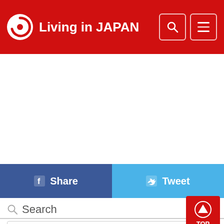Living in JAPAN
[Figure (screenshot): Facebook Share button and Twitter Tweet button, social sharing row]
Search
Keyword